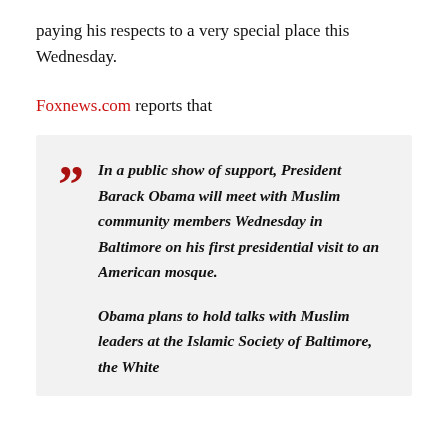paying his respects to a very special place this Wednesday.
Foxnews.com reports that
In a public show of support, President Barack Obama will meet with Muslim community members Wednesday in Baltimore on his first presidential visit to an American mosque.

Obama plans to hold talks with Muslim leaders at the Islamic Society of Baltimore, the White